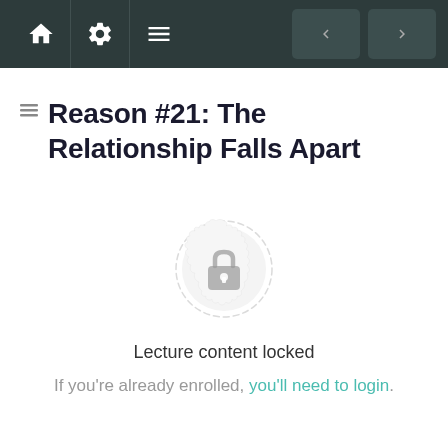Navigation bar with home, settings, menu icons and previous/next buttons
Reason #21: The Relationship Falls Apart
[Figure (illustration): A decorative mandala-style circular badge with a padlock icon in the center, indicating locked content]
Lecture content locked
If you're already enrolled, you'll need to login.